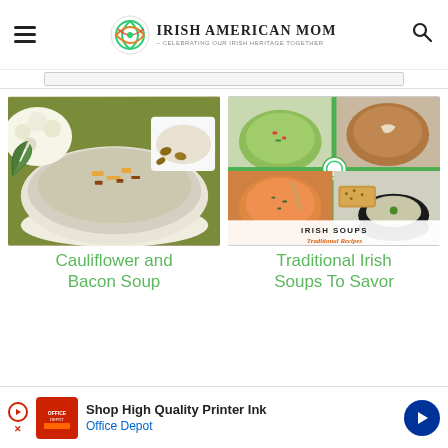Irish American Mom - Celebrating Our Irish Heritage Together
[Figure (photo): Cauliflower and bacon soup in a white bowl with cheese and bacon bits on top, surrounded by cauliflower florets and almonds]
[Figure (photo): Collage of four Irish soups in bowls with text 'Irish Soups Traditional Recipes']
Cauliflower and Bacon Soup
Traditional Irish Soups To Savor
Shop High Quality Printer Ink
Office Depot